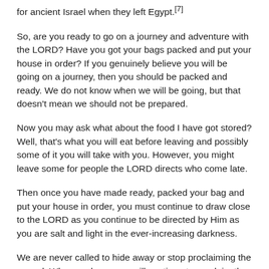for ancient Israel when they left Egypt.[7]
So, are you ready to go on a journey and adventure with the LORD? Have you got your bags packed and put your house in order? If you genuinely believe you will be going on a journey, then you should be packed and ready. We do not know when we will be going, but that doesn't mean we should not be prepared.
Now you may ask what about the food I have got stored? Well, that's what you will eat before leaving and possibly some of it you will take with you. However, you might leave some for people the LORD directs who come late.
Then once you have made ready, packed your bag and put your house in order, you must continue to draw close to the LORD as you continue to be directed by Him as you are salt and light in the ever-increasing darkness.
We are never called to hide away or stop proclaiming the gospel. When we leave, we will continue to proclaim the gospel and shine the light of the Messiah. Sadly, the church has taught that the Tribulation is so bad that God cannot